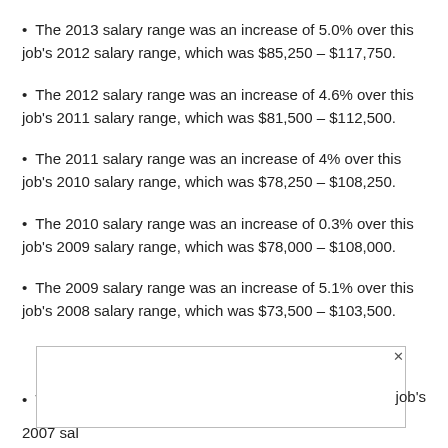The 2013 salary range was an increase of 5.0% over this job's 2012 salary range, which was $85,250 – $117,750.
The 2012 salary range was an increase of 4.6% over this job's 2011 salary range, which was $81,500 – $112,500.
The 2011 salary range was an increase of 4% over this job's 2010 salary range, which was $78,250 – $108,250.
The 2010 salary range was an increase of 0.3% over this job's 2009 salary range, which was $78,000 – $108,000.
The 2009 salary range was an increase of 5.1% over this job's 2008 salary range, which was $73,500 – $103,500.
The 20[truncated] job's 2007 sal[truncated]